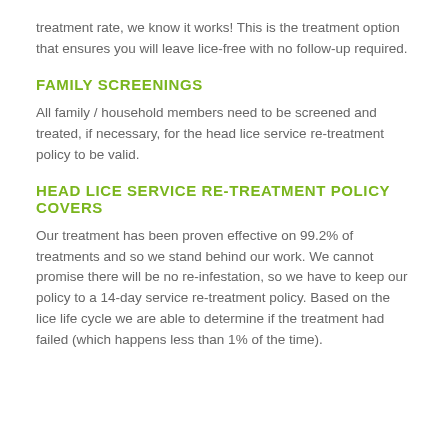treatment rate, we know it works! This is the treatment option that ensures you will leave lice-free with no follow-up required.
FAMILY SCREENINGS
All family / household members need to be screened and treated, if necessary, for the head lice service re-treatment policy to be valid.
HEAD LICE SERVICE RE-TREATMENT POLICY COVERS
Our treatment has been proven effective on 99.2% of treatments and so we stand behind our work. We cannot promise there will be no re-infestation, so we have to keep our policy to a 14-day service re-treatment policy. Based on the lice life cycle we are able to determine if the treatment had failed (which happens less than 1% of the time).